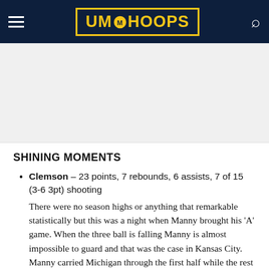UM Hoops
[Figure (other): Advertisement placeholder area (gray background)]
SHINING MOMENTS
Clemson – 23 points, 7 rebounds, 6 assists, 7 of 15 (3-6 3pt) shooting
There were no season highs or anything that remarkable statistically but this was a night when Manny brought his 'A' game. When the three ball is falling Manny is almost impossible to guard and that was the case in Kansas City. Manny carried Michigan through the first half while the rest of the